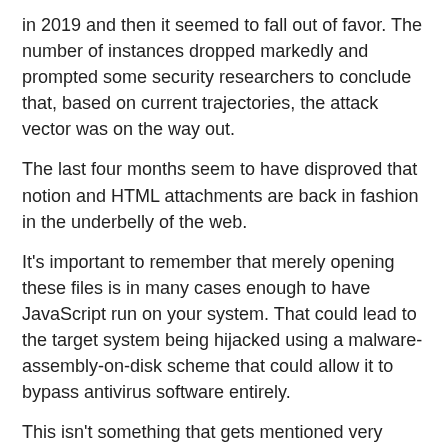in 2019 and then it seemed to fall out of favor. The number of instances dropped markedly and prompted some security researchers to conclude that, based on current trajectories, the attack vector was on the way out.
The last four months seem to have disproved that notion and HTML attachments are back in fashion in the underbelly of the web.
It's important to remember that merely opening these files is in many cases enough to have JavaScript run on your system. That could lead to the target system being hijacked using a malware-assembly-on-disk scheme that could allow it to bypass antivirus software entirely.
This isn't something that gets mentioned very often in employee email safety training, but it should be.
As ever, the best defense against any type of phishing attack is to treat any incoming email message from a sender you don't know with a healthy dose of skepticism. If that email contains an attachment, those attachments should be treated even more skeptically.